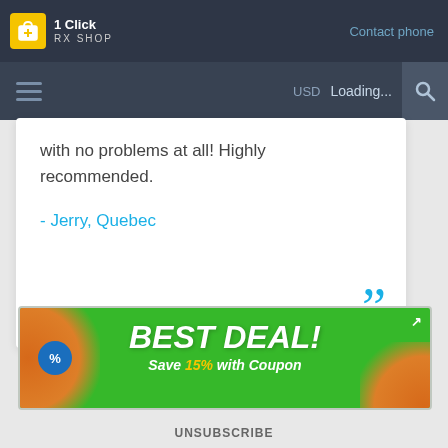[Figure (screenshot): Website header with 1 Click RX Shop logo and navigation bar with hamburger menu, USD currency selector, Loading... text, and search icon]
with no problems at all! Highly recommended.
- Jerry, Quebec
[Figure (infographic): Green promotional banner ad with orange accents, percent badge, close arrow, and text: BEST DEAL! Save 15% with Coupon]
UNSUBSCRIBE